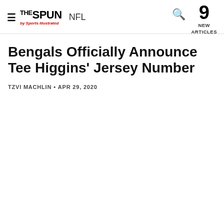THE SPUN by Sports Illustrated — NFL — 9 NEW ARTICLES
Bengals Officially Announce Tee Higgins' Jersey Number
TZVI MACHLIN • APR 29, 2020